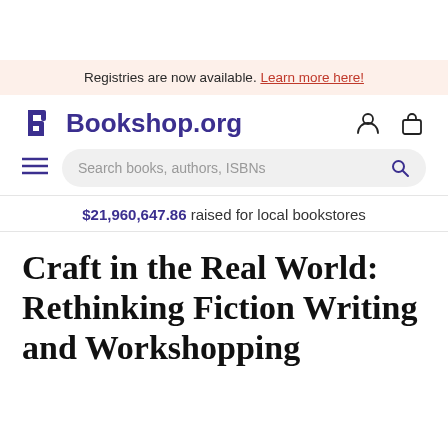Registries are now available. Learn more here!
Bookshop.org
$21,960,647.86 raised for local bookstores
Craft in the Real World: Rethinking Fiction Writing and Workshopping